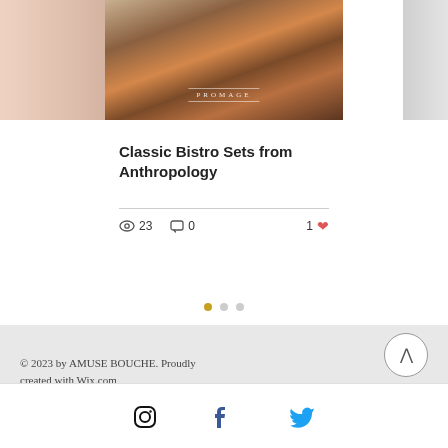[Figure (photo): Photo of cheese/food items on a Promage branded serving board, shown in a blog card preview]
Classic Bistro Sets from Anthropology
23 views · 0 comments · 1 like
[Figure (infographic): Pagination dots: three dots, first one active in gold/yellow]
© 2023 by AMUSE BOUCHE. Proudly created with Wix.com
[Figure (infographic): Social media icons: Facebook, Twitter, Pinterest, Instagram in footer]
[Figure (infographic): Bottom bar social icons: Instagram, Facebook (blue), Twitter (blue)]